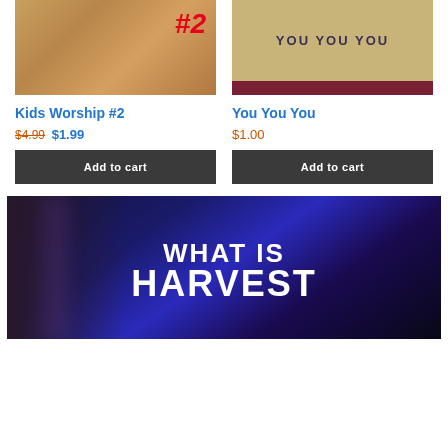[Figure (photo): Product thumbnail for Kids Worship #2 - brown/tan corduroy chair with red #2 text overlay]
[Figure (photo): Product thumbnail for You You You - tan background with text YOU YOU YOU in dark purple and a dark maroon band at bottom]
Kids Worship #2
$4.99 $1.99
Add to cart
You You You
$1.00
Add to cart
[Figure (photo): Dark blue/purple concert or church stage scene with large bold text WHAT IS HARVEST]